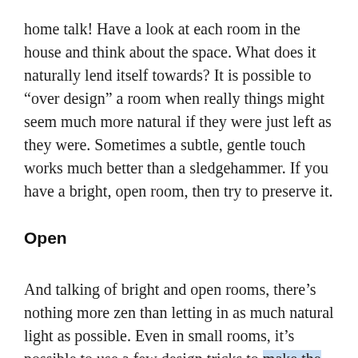home talk! Have a look at each room in the house and think about the space. What does it naturally lend itself towards? It is possible to “over design” a room when really things might seem much more natural if they were just left as they were. Sometimes a subtle, gentle touch works much better than a sledgehammer. If you have a bright, open room, then try to preserve it.
Open
And talking of bright and open rooms, there’s nothing more zen than letting in as much natural light as possible. Even in small rooms, it’s possible to use a few design tricks to make the room seem more open and spacious than it actually is. Use minimal furniture, ideal